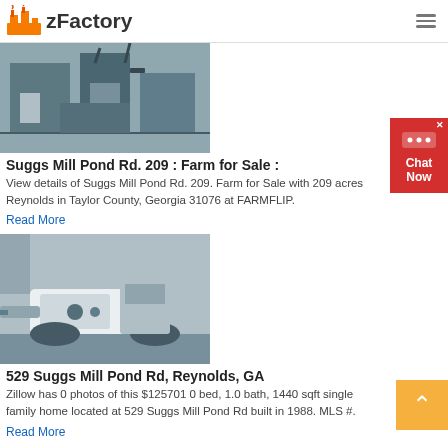zFactory
[Figure (photo): Industrial factory/mill equipment photo]
Suggs Mill Pond Rd. 209 : Farm for Sale :
View details of Suggs Mill Pond Rd. 209. Farm for Sale with 209 acres Reynolds in Taylor County, Georgia 31076 at FARMFLIP.
Read More
[Figure (photo): Industrial drilling/boring machine on construction site]
529 Suggs Mill Pond Rd, Reynolds, GA
Zillow has 0 photos of this $125701 0 bed, 1.0 bath, 1440 sqft single family home located at 529 Suggs Mill Pond Rd built in 1988. MLS #.
Read More